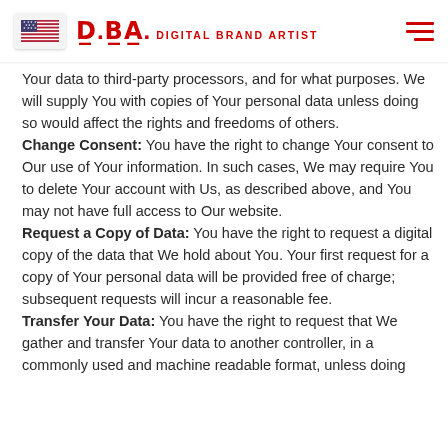DBA. DIGITAL BRAND ARTIST
Your data to third-party processors, and for what purposes. We will supply You with copies of Your personal data unless doing so would affect the rights and freedoms of others.
Change Consent: You have the right to change Your consent to Our use of Your information. In such cases, We may require You to delete Your account with Us, as described above, and You may not have full access to Our website.
Request a Copy of Data: You have the right to request a digital copy of the data that We hold about You. Your first request for a copy of Your personal data will be provided free of charge; subsequent requests will incur a reasonable fee.
Transfer Your Data: You have the right to request that We gather and transfer Your data to another controller, in a commonly used and machine readable format, unless doing